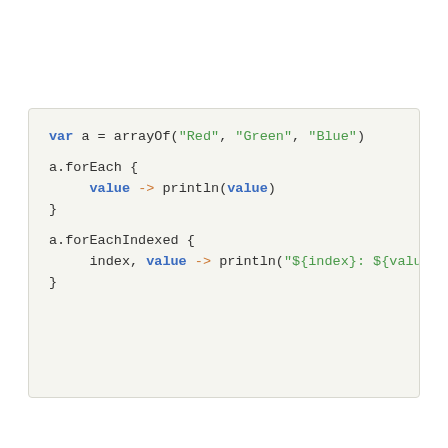[Figure (screenshot): Code snippet in Kotlin/Groovy-style language showing arrayOf with forEach and forEachIndexed loops, syntax-highlighted in a light gray box]